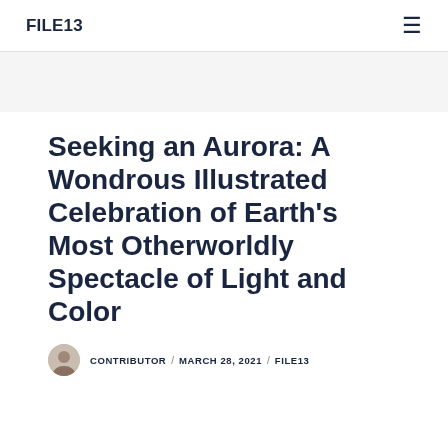FILE13
Seeking an Aurora: A Wondrous Illustrated Celebration of Earth's Most Otherworldly Spectacle of Light and Color
CONTRIBUTOR / MARCH 28, 2021 / FILE13